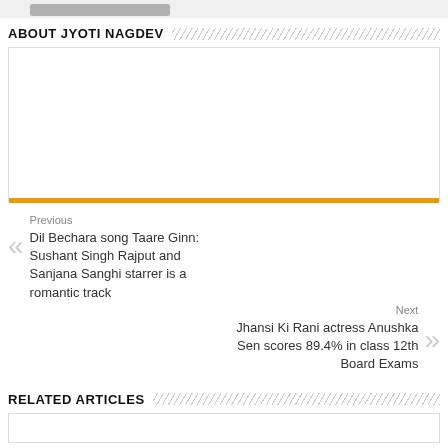ABOUT JYOTI NAGDEV
Previous
Dil Bechara song Taare Ginn: Sushant Singh Rajput and Sanjana Sanghi starrer is a romantic track
Next
Jhansi Ki Rani actress Anushka Sen scores 89.4% in class 12th Board Exams
RELATED ARTICLES